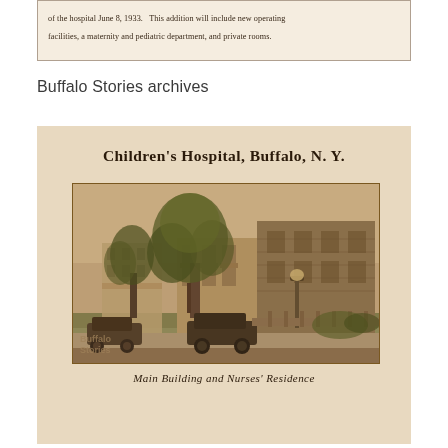of the hospital June 8, 1933. This addition will include new operating facilities, a maternity and pediatric department, and private rooms.
Buffalo Stories archives
Children's Hospital, Buffalo, N. Y.
[Figure (photo): Sepia-toned historical photograph of Children's Hospital, Buffalo, N.Y. showing the Main Building and Nurses' Residence with large trees in front, vintage automobiles parked on the street, and ivy-covered stone buildings.]
Main Building and Nurses' Residence